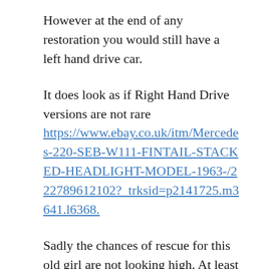However at the end of any restoration you would still have a left hand drive car.
It does look as if Right Hand Drive versions are not rare https://www.ebay.co.uk/itm/Mercedes-220-SEB-W111-FINTAIL-STACKED-HEADLIGHT-MODEL-1963-/222789612102?_trksid=p2141725.m3641.l6368.
Sadly the chances of rescue for this old girl are not looking high. At least not in the UK (There are no bids at the time of writing).
Although it would be marvellous to be proved wrong. And to see the before and after